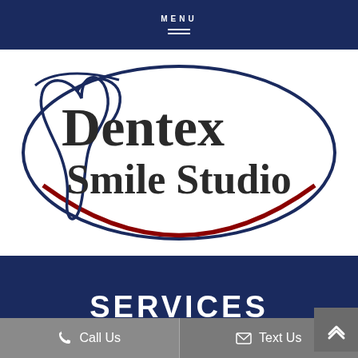MENU
[Figure (logo): Dentex Smile Studio logo: dental tooth outline in dark navy blue with an oval border in navy blue on top and dark red on the bottom, with the text 'Dentex Smile Studio' in dark serif font inside.]
SERVICES
Call Us
Text Us